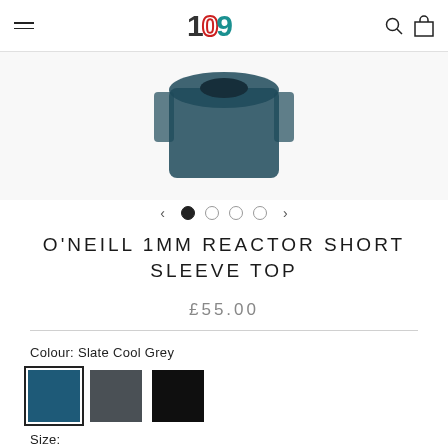109 store navigation
[Figure (photo): Product image of O'Neill 1MM Reactor Short Sleeve Top in dark teal/slate colour, partially visible at top of page]
[Figure (other): Carousel navigation with left arrow, 4 dots (first filled), right arrow]
O'NEILL 1MM REACTOR SHORT SLEEVE TOP
£55.00
Colour: Slate Cool Grey
[Figure (other): Three colour swatches: Slate Cool Grey (selected, teal-blue), dark grey, black]
Size: